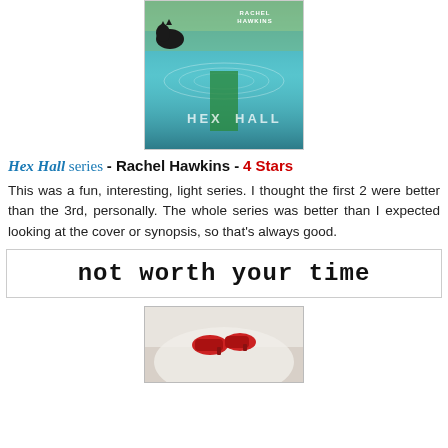[Figure (photo): Book cover of Hex Hall series by Rachel Hawkins, featuring a girl in green dress reflected in water, with a dark wolf/cat, teal/turquoise color scheme]
Hex Hall series - Rachel Hawkins - 4 Stars
This was a fun, interesting, light series. I thought the first 2 were better than the 3rd, personally. The whole series was better than I expected looking at the cover or synopsis, so that's always good.
[Figure (other): Text stamp image reading 'not worth your time' in bold monospace font, inside a bordered box]
[Figure (photo): Partial book cover showing red shoes against a white/grey background, bottom of page]